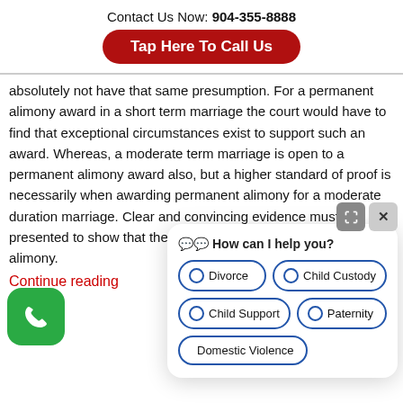Contact Us Now: 904-355-8888
[Figure (other): Red rounded button with white text: Tap Here To Call Us]
absolutely not have that same presumption. For a permanent alimony award in a short term marriage the court would have to find that exceptional circumstances exist to support such an award. Whereas, a moderate term marriage is open to a permanent alimony award also, but a higher standard of proof is necessarily when awarding permanent alimony for a moderate duration marriage. Clear and convincing evidence must be presented to show that the receiving spouse is entitled to alimony.
Continue reading
[Figure (other): Green rounded square phone icon button (call button)]
[Figure (other): Chat overlay widget with header 'How can I help you?' and options: Divorce, Child Custody, Child Support, Paternity, Domestic Violence]